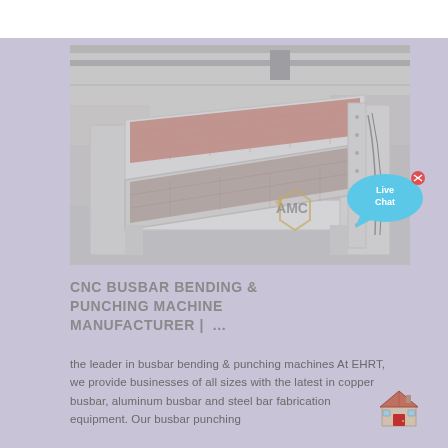[Figure (photo): Industrial vibrating screen / sieving machine photographed in a factory setting. Large metal frame structure with angled mesh decks, white painted frame, visible in a warehouse with overhead cranes. AMC logo watermark visible in the lower right corner of the image.]
CNC BUSBAR BENDING & PUNCHING MACHINE MANUFACTURER | ...
the leader in busbar bending & punching machines At EHRT, we provide businesses of all sizes with the latest in copper busbar, aluminum busbar and steel bar fabrication equipment. Our busbar punching